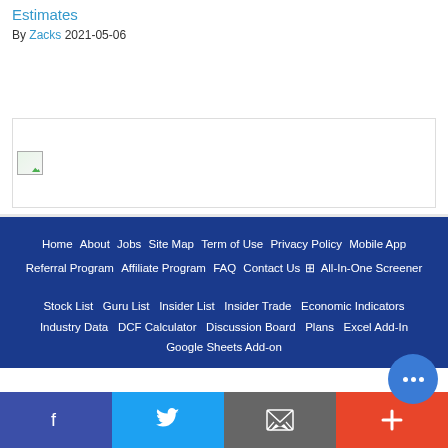Estimates
By Zacks 2021-05-06
[Figure (photo): Broken image placeholder thumbnail]
Home · About · Jobs · Site Map · Term of Use · Privacy Policy · Mobile App · Referral Program · Affiliate Program · FAQ · Contact Us · All-In-One Screener
Stock List · Guru List · Insider List · Insider Trade · Economic Indicators · Industry Data · DCF Calculator · Discussion Board · Plans · Excel Add-In · Google Sheets Add-on